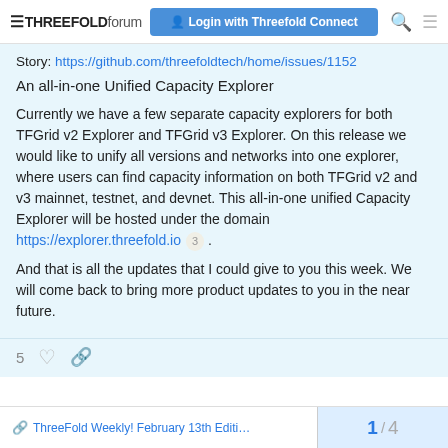THREEFOLD forum | Login with Threefold Connect
Story: https://github.com/threefoldtech/home/issues/1152
An all-in-one Unified Capacity Explorer
Currently we have a few separate capacity explorers for both TFGrid v2 Explorer and TFGrid v3 Explorer. On this release we would like to unify all versions and networks into one explorer, where users can find capacity information on both TFGrid v2 and v3 mainnet, testnet, and devnet. This all-in-one unified Capacity Explorer will be hosted under the domain https://explorer.threefold.io 3 .
And that is all the updates that I could give to you this week. We will come back to bring more product updates to you in the near future.
ThreeFold Weekly! February 13th Editi… | 1 / 4